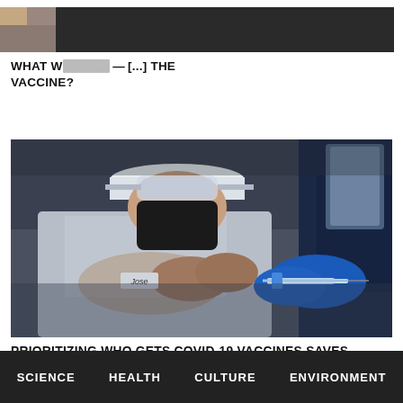[Figure (photo): Partial top image strip: small thumbnail photo on left with person, large dark redacted bar covering most of the strip]
WHAT W[...redacted...] VACCINE?
[Figure (photo): Person wearing a black face mask, hat, goggles, and grey work uniform receiving a COVID-19 vaccine injection from a healthcare worker wearing blue gloves and a face shield]
PRIORITIZING WHO GETS COVID-19 VACCINES SAVES LIVES
SCIENCE   HEALTH   CULTURE   ENVIRONMENT